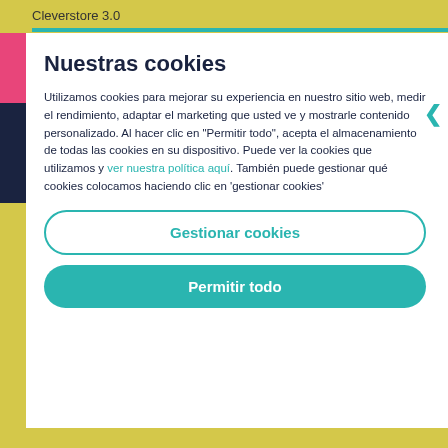Cleverstore 3.0
Nuestras cookies
Utilizamos cookies para mejorar su experiencia en nuestro sitio web, medir el rendimiento, adaptar el marketing que usted ve y mostrarle contenido personalizado. Al hacer clic en "Permitir todo", acepta el almacenamiento de todas las cookies en su dispositivo. Puede ver la cookies que utilizamos y ver nuestra política aquí. También puede gestionar qué cookies colocamos haciendo clic en 'gestionar cookies'
Gestionar cookies
Permitir todo